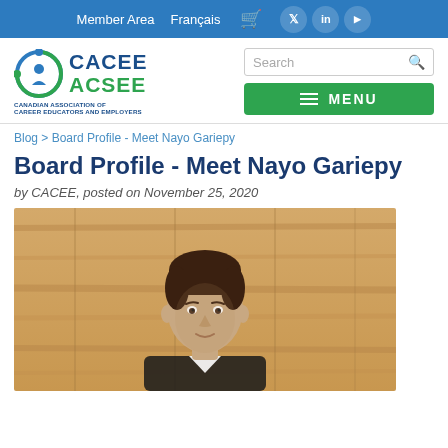Member Area   Français
[Figure (logo): CACEE ACSEE logo - Canadian Association of Career Educators and Employers]
Blog > Board Profile - Meet Nayo Gariepy
Board Profile - Meet Nayo Gariepy
by CACEE, posted on November 25, 2020
[Figure (photo): Photo of Nayo Gariepy, a young man standing in front of a wooden wall background]